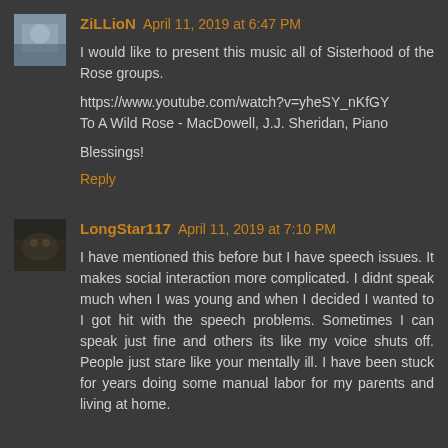ZiLLioN April 11, 2019 at 6:47 PM
I would like to present this music all of Sisterhood of the Rose groups.

https://www.youtube.com/watch?v=yheSY_nKfGY
To A Wild Rose - MacDowell, J.J. Sheridan, Piano

Blessings!

Reply
LongStar117 April 11, 2019 at 7:10 PM
I have mentioned this before but I have speech issues. It makes social interaction more complicated. I didnt speak much when I was young and when I decided I wanted to I got hit with the speech problems. Sometimes I can speak just fine and others its like my voice shuts off. People just stare like your mentally ill. I have been stuck for years doing some manual labor for my parents and living at home.